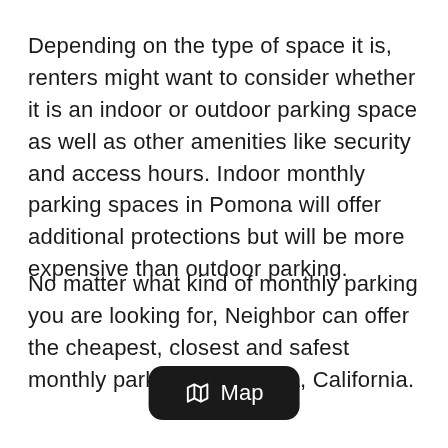Depending on the type of space it is, renters might want to consider whether it is an indoor or outdoor parking space as well as other amenities like security and access hours. Indoor monthly parking spaces in Pomona will offer additional protections but will be more expensive than outdoor parking.
No matter what kind of monthly parking you are looking for, Neighbor can offer the cheapest, closest and safest monthly parking in Pomona, California.
[Figure (other): A dark rounded button labeled 'Map' with a map/book icon, overlaying the bottom of the text.]